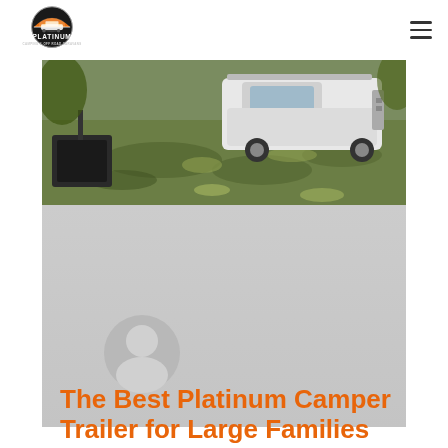[Figure (logo): Platinum Camping & Off Road Caravans logo — circular emblem with orange/gold sunset icon above text PLATINUM and subtitle CAMPING & OFF ROAD CARAVANS]
[Figure (photo): Outdoor camping scene showing a white 4WD truck parked on green grass with tree shadows, and a dark firepit/box in the foreground left]
[Figure (photo): Gray blurred lower portion of hero image area with a circular user/avatar silhouette icon in light gray]
The Best Platinum Camper Trailer for Large Families